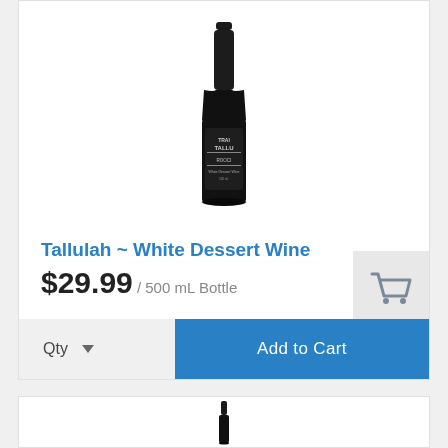[Figure (photo): Dark glass wine bottle with Tallulah label]
Tallulah ~ White Dessert Wine
$29.99 / 500 mL Bottle
Qty  ▼   Add to Cart